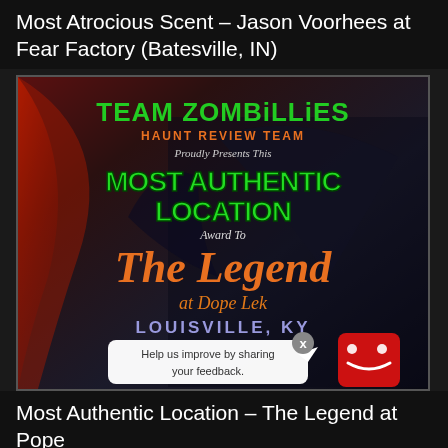Most Atrocious Scent – Jason Voorhees at Fear Factory (Batesville, IN)
[Figure (illustration): Team Zombillies Haunt Review Team award graphic: Most Authentic Location award to The Legend at Pope Lek, Louisville, KY. Dark background with red swoosh, green grunge text for 'TEAM ZOMBILLIES' and 'MOST AUTHENTIC LOCATION', orange text for 'HAUNT REVIEW TEAM' and 'The Legend at Dope Lek', with a feedback popup overlay and red emoji mascot.]
Most Authentic Location – The Legend at Pope